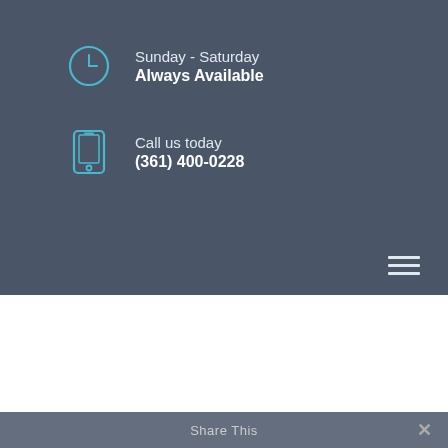Sunday - Saturday
Always Available
Call us today
(361) 400-0228
[Figure (infographic): Hamburger menu icon (three horizontal lines) in the lower right of the header section]
Tips on how to Live Jointly As a Few, If You Are Considering Marriage Which has a...
Share This